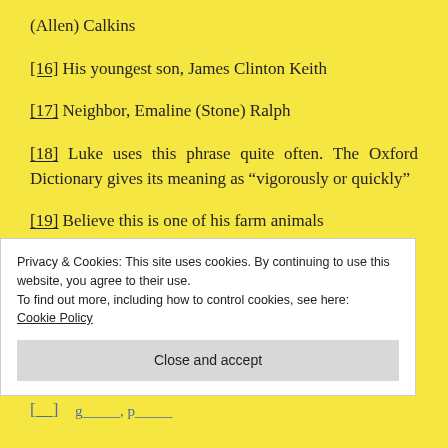(Allen) Calkins
[16] His youngest son, James Clinton Keith
[17] Neighbor, Emaline (Stone) Ralph
[18] Luke uses this phrase quite often. The Oxford Dictionary gives its meaning as “vigorously or quickly”
[19] Believe this is one of his farm animals
Privacy & Cookies: This site uses cookies. By continuing to use this website, you agree to their use.
To find out more, including how to control cookies, see here:
Cookie Policy
Close and accept